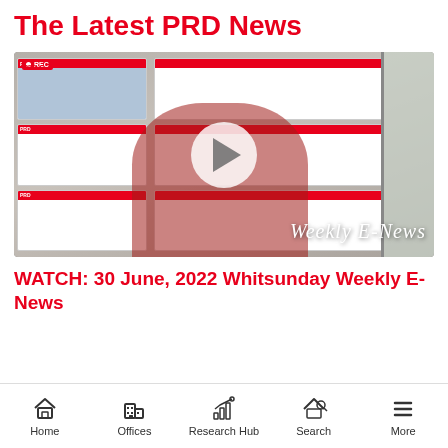The Latest PRD News
[Figure (screenshot): Video thumbnail showing a woman in a red PRD shirt standing in front of a real estate office window display. A white play button circle is overlaid in the center. 'Weekly E-News' text appears in cursive at the bottom right. A red REC badge is in the top left corner.]
WATCH: 30 June, 2022 Whitsunday Weekly E-News
Home  Offices  Research Hub  Search  More